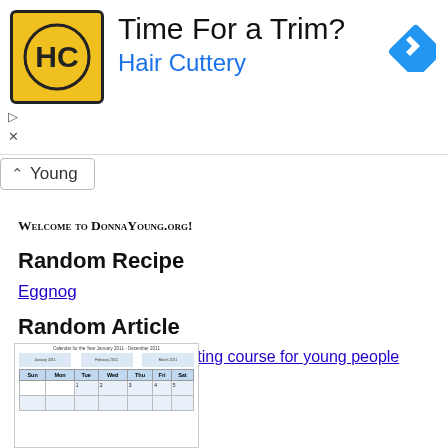[Figure (screenshot): Advertisement banner for Hair Cuttery with logo, text 'Time For a Trim?' and 'Hair Cuttery', navigation icon, and ad controls]
Young
WELCOME TO DONNAYOUNG.ORG!
Random Recipe
Eggnog
Random Article
Wordsmith, A creative writing course for young people
[Figure (screenshot): Thumbnail image of a calendar document showing a year-at-a-glance style calendar with months and a week grid]